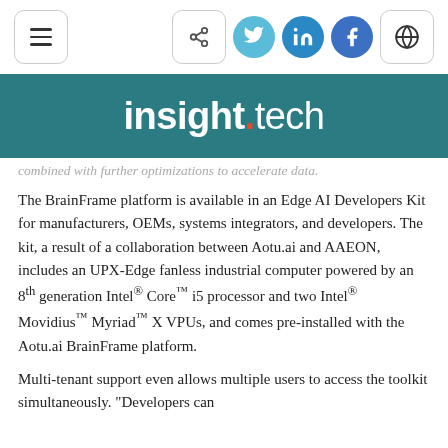[Figure (screenshot): Navigation bar with hamburger menu, share icon, Twitter/LinkedIn/Facebook social icons, and globe icon]
[Figure (logo): insight.tech logo on teal background banner]
combined with further optimizations to accelerate data.
The BrainFrame platform is available in an Edge AI Developers Kit for manufacturers, OEMs, systems integrators, and developers. The kit, a result of a collaboration between Aotu.ai and AAEON, includes an UPX-Edge fanless industrial computer powered by an 8th generation Intel® Core™ i5 processor and two Intel® Movidius™ Myriad™ X VPUs, and comes pre-installed with the Aotu.ai BrainFrame platform.
Multi-tenant support even allows multiple users to access the toolkit simultaneously. "Developers can